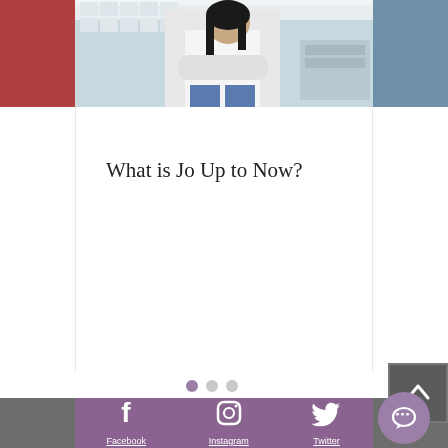[Figure (photo): Top banner with photo of a person (chef or kitchen worker) in a kitchen environment, partially visible. Three panels: brown/red left edge, center image of person, blue-gray right edge.]
What is Jo Up to Now?
[Figure (infographic): Carousel navigation dots: one filled purple dot and two gray dots indicating a 3-slide carousel.]
[Figure (infographic): Footer section with dark gray background containing a purple social media bar with Facebook, Instagram, and Twitter icons and underlined links. A square back-to-top button with upward chevron overlaps the top-right. A purple circular chat button is at the bottom right.]